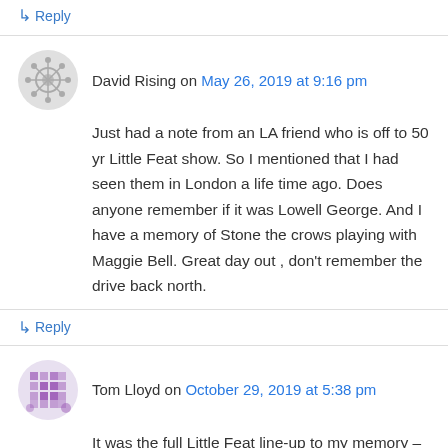↳ Reply
David Rising on May 26, 2019 at 9:16 pm
Just had a note from an LA friend who is off to 50 yr Little Feat show. So I mentioned that I had seen them in London a life time ago. Does anyone remember if it was Lowell George. And I have a memory of Stone the crows playing with Maggie Bell. Great day out , don't remember the drive back north.
↳ Reply
Tom Lloyd on October 29, 2019 at 5:38 pm
It was the full Little Feat line-up to my memory –